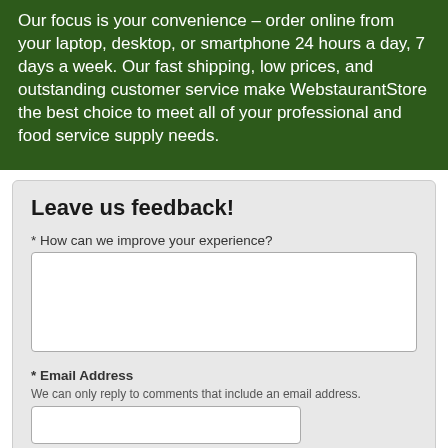Our focus is your convenience – order online from your laptop, desktop, or smartphone 24 hours a day, 7 days a week. Our fast shipping, low prices, and outstanding customer service make WebstaurantStore the best choice to meet all of your professional and food service supply needs.
Leave us feedback!
* How can we improve your experience?
* Email Address
We can only reply to comments that include an email address.